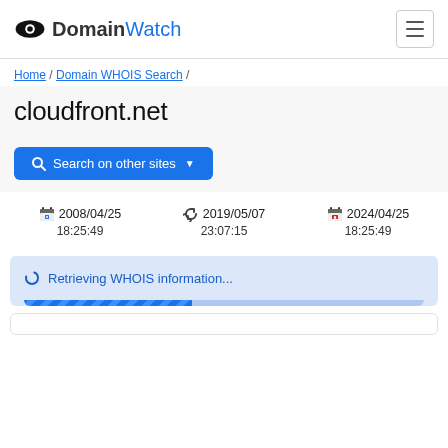DomainWatch
Home / Domain WHOIS Search /
cloudfront.net
Search on other sites
2008/04/25 18:25:49  2019/05/07 23:07:15  2024/04/25 18:25:49
Retrieving WHOIS information...